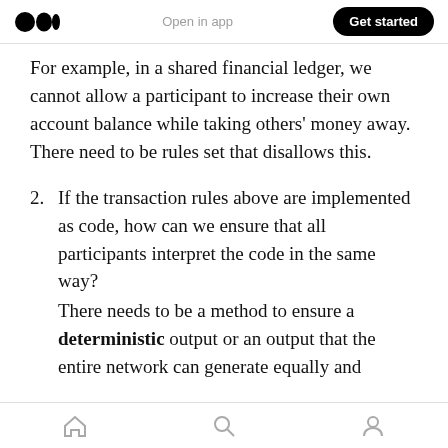Open in app | Get started
For example, in a shared financial ledger, we cannot allow a participant to increase their own account balance while taking others' money away. There need to be rules set that disallows this.
2. If the transaction rules above are implemented as code, how can we ensure that all participants interpret the code in the same way?
There needs to be a method to ensure a deterministic output or an output that the entire network can generate equally and
home | search | profile